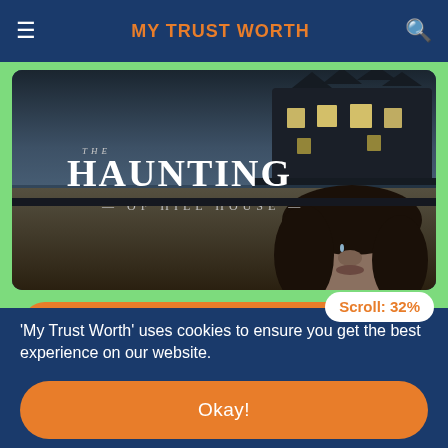MY TRUST WORTH
[Figure (screenshot): Screenshot of 'My Trust Worth' website showing The Haunting of Hill House TV show poster — a dark atmospheric image with the show title text overlay and a woman's face in the lower half]
The Haunting of Hill House - ENGLISH
Scroll: 32%
'My Trust Worth' uses cookies to ensure you get the best experience on our website.
Okay!